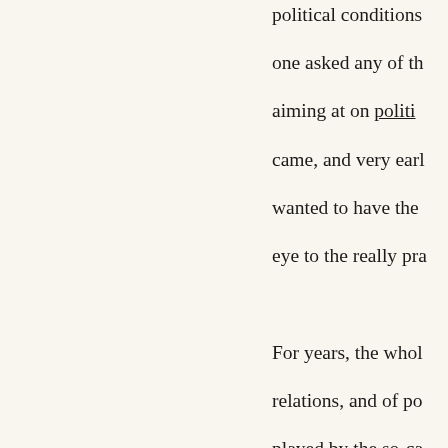political conditions one asked any of the aiming at on political came, and very early wanted to have the eye to the really pra For years, the whole relations, and of po played by the so-ca world on fire. For y a knot that is conti for ever, now blend see the thing comi establishing itself i Turkish conservativ became mixed up w question of the Da